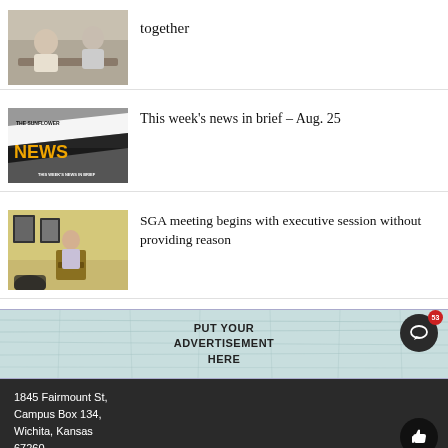[Figure (photo): Two people sitting together at a table, partial view]
together
[Figure (photo): The Sunflower NEWS - This week's news in brief graphic with gold text on black and white background]
This week's news in brief – Aug. 25
[Figure (photo): Young man speaking at a podium with Wichita State logo, black and white framed photos on wall behind]
SGA meeting begins with executive session without providing reason
[Figure (infographic): PUT YOUR ADVERTISEMENT HERE banner on light blue crinkled paper background]
1845 Fairmount St, Campus Box 134, Wichita, Kansas 67260
© 2022 The Sunflower • Advertise • FLEX WordPress Theme by SNO • Log in